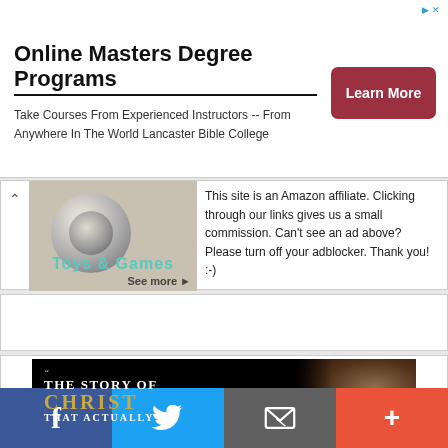[Figure (screenshot): Online Masters Degree Programs advertisement banner with 'Learn More' button]
[Figure (screenshot): Amazon affiliate Toys & Games banner with skateboard wheel image and text: This site is an Amazon affiliate. Clicking through our links gives us a small commission. Can't see an ad above? Please turn off your adblocker. Thank you! :-)]
[Figure (other): Empty white advertisement box]
[Figure (screenshot): The Story of Christ book advertisement banner with dark background and man's face]
[Figure (infographic): Social sharing bar with Facebook (blue), Twitter (light blue), Email (grey), and Plus (orange-red) buttons]